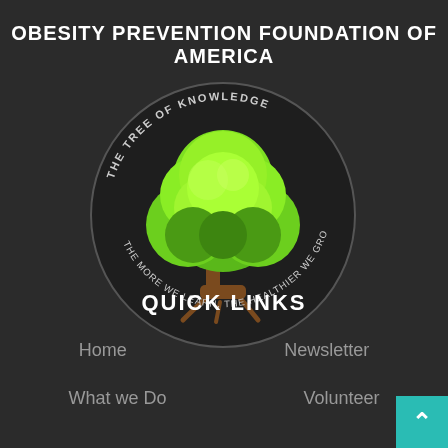OBESITY PREVENTION FOUNDATION OF AMERICA
[Figure (logo): Circular logo with a green tree in the center. Text around the top reads 'THE TREE OF KNOWLEDGE' and around the bottom reads 'THE MORE WE LEARN, THE HEALTHIER WE GROW']
QUICK LINKS
Home
Newsletter
What we Do
Volunteer